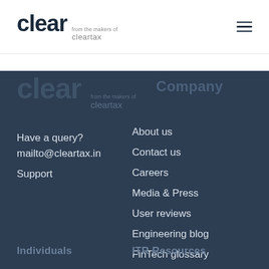[Figure (logo): Clear logo with 'from the makers of cleartax' text in top navigation bar]
[Figure (other): Hamburger menu icon (three horizontal lines) in top right of navigation bar]
[Figure (logo): Clear/ClearTax logo repeated in dark footer background]
Company
Have a query?
mailto@cleartax.in
Support
About us
Contact us
Careers
Media & Press
User reviews
Engineering blog
FinTech glossary
ClearTax Chronicles
Guides
Individuals
ITR Resources